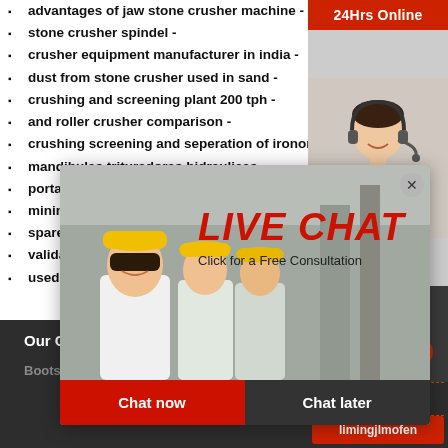advantages of jaw stone crusher machine -
stone crusher spindel -
crusher equipment manufacturer in india -
dust from stone crusher used in sand -
crushing and screening plant 200 tph -
and roller crusher comparison -
crushing screening and seperation of ironore -
mandibulas trituradoras hidraulicas -
portable [obscured by popup]
mining [obscured by popup]
spare p[arts obscured by popup]
validati[on obscured by popup]
used do[zer obscured by popup]
[Figure (screenshot): Live chat popup overlay with photo of workers in yellow hard hats and a customer service agent with headset. Contains LIVE CHAT text in red italic, subtitle 'Click for a Free Consultation', close button X, 'Chat now' red button and 'Chat later' dark button.]
[Figure (screenshot): Right sidebar with '24Hrs Online' red header, customer service agent photo, 'Need questions & suggestion?' text, 'Chat Now' red oval button, 'Enquiry' orange text, 'limingjlmofen' red button.]
Our Contact
Bootstrap company Inc